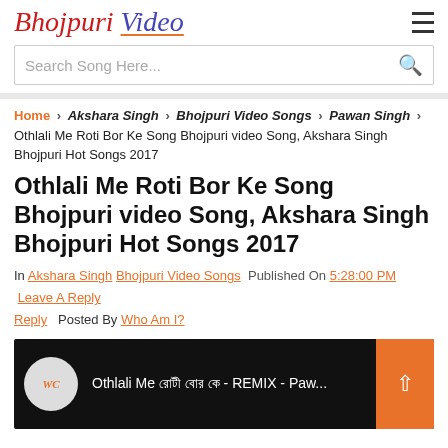Bhojpuri Video
Search Song Here...
Home > Akshara Singh > Bhojpuri Video Songs > Pawan Singh > Othlali Me Roti Bor Ke Song Bhojpuri video Song, Akshara Singh Bhojpuri Hot Songs 2017
Othlali Me Roti Bor Ke Song Bhojpuri video Song, Akshara Singh Bhojpuri Hot Songs 2017
In Akshara Singh Bhojpuri Video Songs  Published On 5:28:00 PM  Leave A Reply  Posted By Who Am I?
[Figure (screenshot): YouTube video thumbnail showing Othlali Me Roti Bor Ke - REMIX - Paw... with WC channel logo avatar and orange scroll-to-top button]